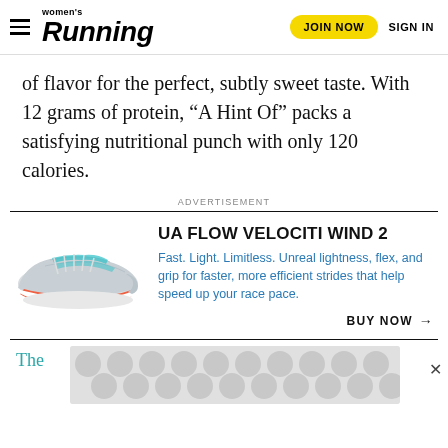women's Running | JOIN NOW | SIGN IN
of flavor for the perfect, subtly sweet taste. With 12 grams of protein, “A Hint Of” packs a satisfying nutritional punch with only 120 calories.
ADVERTISEMENT
[Figure (photo): Advertisement for UA Flow Velociti Wind 2 running shoe showing a light grey/white shoe with teal and orange accents. Title: UA FLOW VELOCITI WIND 2. Description: Fast. Light. Limitless. Unreal lightness, flex, and grip for faster, more efficient strides that help speed up your race pace. BUY NOW →]
[Figure (other): Bottom advertisement banner with grey bubble/circle pattern and an X close button. Text fragment: The]